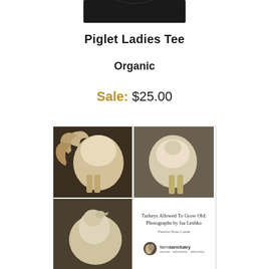[Figure (photo): Black ladies tee shirt, cropped view showing upper portion]
Piglet Ladies Tee
Organic
Sale: $25.00
[Figure (photo): Note card set box cover for 'Turkeys Allowed To Grow Old: Photographs by Isa Leshko, Twelve Note Cards' with Farm Sanctuary branding. Shows three sepia-toned photographs of turkeys arranged in a grid layout.]